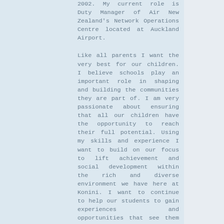2002. My current role is Duty Manager of Air New Zealand's Network Operations Centre located at Auckland Airport.

Like all parents I want the very best for our children. I believe schools play an important role in shaping and building the communities they are part of. I am very passionate about ensuring that all our children have the opportunity to reach their full potential. Using my skills and experience I want to build on our focus to lift achievement and social development within the rich and diverse environment we have here at Konini. I want to continue to help our students to gain experiences and opportunities that see them able to engage with education now and in the future. It is imperative that we give them a sound base of knowledge, skills and confidence at the Primary School level to set them up as lifelong learners.

I have thoroughly enjoyed being part of the Konini Board of Trustees and am extremely proud of what the school has achieved. Konini is blessed with an amazing team of leaders, teachers and support staff that co